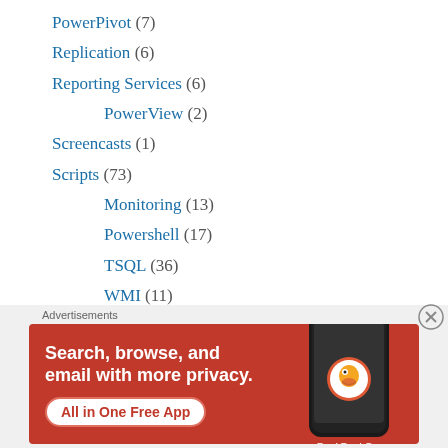PowerPivot (7)
Replication (6)
Reporting Services (6)
PowerView (2)
Screencasts (1)
Scripts (73)
Monitoring (13)
Powershell (17)
TSQL (36)
WMI (11)
Security (1)
SQL Agent (1)
SQL How-To (15)
[Figure (infographic): DuckDuckGo advertisement banner with orange/red background. Text reads 'Search, browse, and email with more privacy. All in One Free App'. Shows a smartphone with DuckDuckGo logo.]